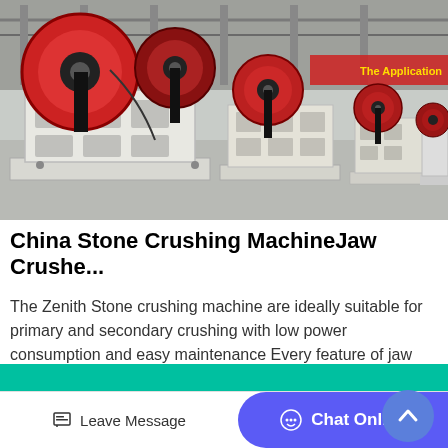[Figure (photo): Industrial factory floor showing multiple jaw crusher machines lined up in a row. The machines are large, heavy-duty stone crushing equipment with prominent red circular flywheels on top, white/cream colored bodies with a lattice-frame structure, mounted on flat bases. The factory has a concrete floor and industrial ceiling structure visible in the background. A red banner is partially visible in the far background.]
China Stone Crushing MachineJaw Crushe...
The Zenith Stone crushing machine are ideally suitable for primary and secondary crushing with low power consumption and easy maintenance Every feature of jaw crushers has been carefully designed to provide superior...